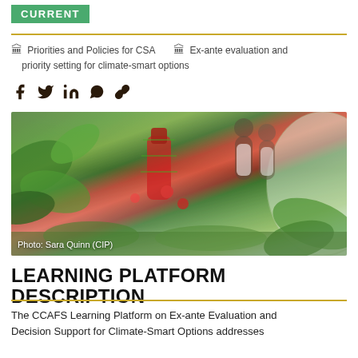CURRENT
Priorities and Policies for CSA   Ex-ante evaluation and priority setting for climate-smart options
[Figure (photo): Researchers working among green plants and tomatoes inside a greenhouse tunnel. Photo credit: Sara Quinn (CIP)]
Photo: Sara Quinn (CIP)
LEARNING PLATFORM DESCRIPTION
The CCAFS Learning Platform on Ex-ante Evaluation and Decision Support for Climate-Smart Options addresses